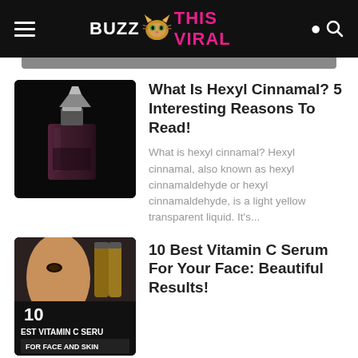BUZZ THIS VIRAL
[Figure (photo): Dark bottle of perfume/fragrance on black background]
What Is Hexyl Cinnamal? 5 Interesting Reasons To Read!
What is hexyl cinnamal? Hexyl cinnamal, also known as hexyl cinnamaldehyde or hexyl cinnamaldehyde, is a light yellow transparent liquid. It's...
[Figure (photo): 10 Best Vitamin C Serum For Face and Skin promotional image with a person's face and serum bottles]
10 Best Vitamin C Serum For Your Face: Beautiful Results!